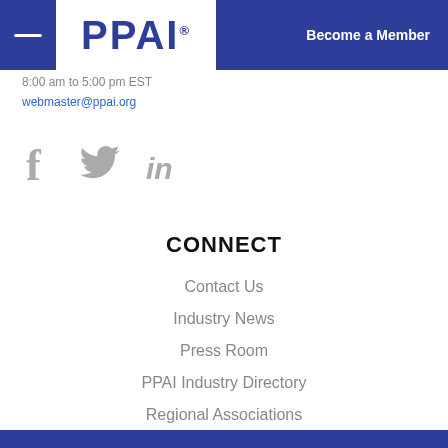[Figure (logo): PPAI logo on blue header bar with Become a Member button]
8:00 am to 5:00 pm EST
webmaster@ppai.org
[Figure (illustration): Social media icons: Facebook, Twitter, LinkedIn in gray]
CONNECT
Contact Us
Industry News
Press Room
PPAI Industry Directory
Regional Associations